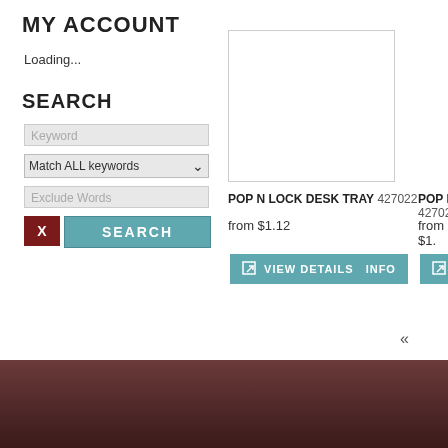MY ACCOUNT
Loading...
SEARCH
Keyword
Match ALL keywords
Exclude Words
X | SEARCH
[Figure (photo): Empty white product image placeholder box with thin gray border]
POP N LOCK DESK TRAY 427022
from $1.12
VIEW DETAILS   INFO
POP N... 427025
from $1...
«
→ Home   → About Us   → Contact   → Policies
Copyright © 2022 Dated Events All Rights Reserved.